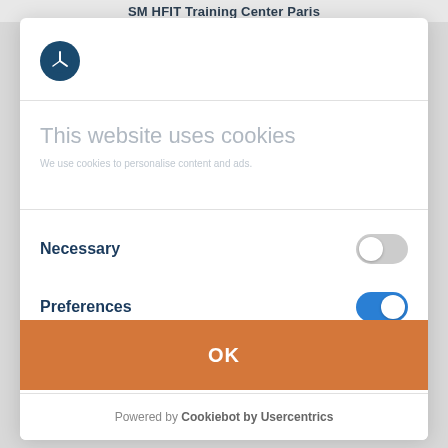SM HFIT Training Center Paris
[Figure (logo): 3M or similar company logo, white icon on dark blue circular background]
This website uses cookies
Necessary
Preferences
Statistics
OK
Powered by Cookiebot by Usercentrics